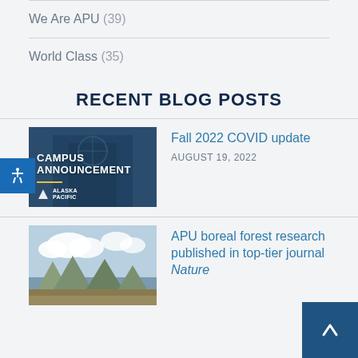We Are APU (39)
World Class (35)
RECENT BLOG POSTS
[Figure (photo): Campus Announcement graphic with Alaska Pacific University logo on dark blue background]
Fall 2022 COVID update
AUGUST 19, 2022
[Figure (photo): Mountain landscape with clouds, boreal scenery]
APU boreal forest research published in top-tier journal Nature